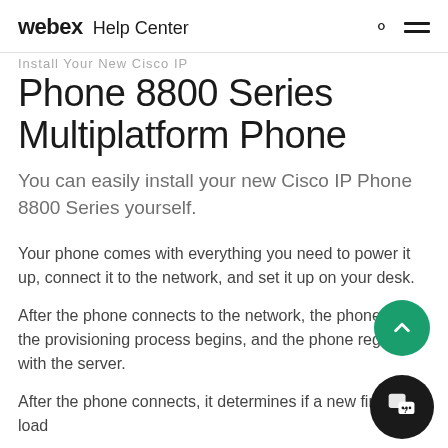webex Help Center
Install Your New Cisco IP Phone 8800 Series Multiplatform Phone
You can easily install your new Cisco IP Phone 8800 Series yourself.
Your phone comes with everything you need to power it up, connect it to the network, and set it up on your desk.
After the phone connects to the network, the phone starts, the provisioning process begins, and the phone registers with the server.
After the phone connects, it determines if a new firmware load